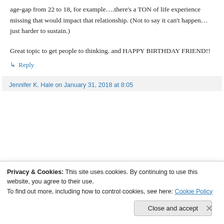age-gap from 22 to 18, for example….there's a TON of life experience missing that would impact that relationship. (Not to say it can't happen… just harder to sustain.)
Great topic to get people to thinking. and HAPPY BIRTHDAY FRIEND!!
↳ Reply
Jennifer K. Hale on January 31, 2018 at 8:05
Privacy & Cookies: This site uses cookies. By continuing to use this website, you agree to their use.
To find out more, including how to control cookies, see here: Cookie Policy